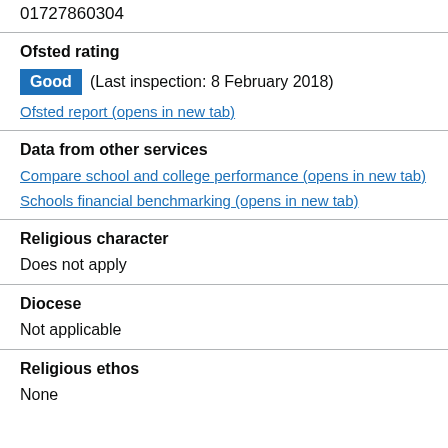01727860304
Ofsted rating
Good (Last inspection: 8 February 2018)
Ofsted report (opens in new tab)
Data from other services
Compare school and college performance (opens in new tab)
Schools financial benchmarking (opens in new tab)
Religious character
Does not apply
Diocese
Not applicable
Religious ethos
None